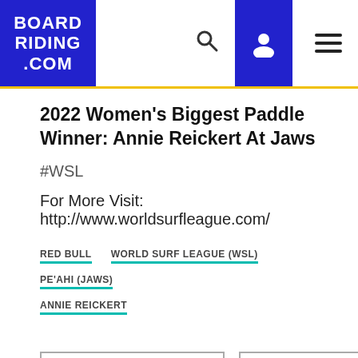BOARDRIDING.COM
2022 Women's Biggest Paddle Winner: Annie Reickert At Jaws
#WSL
For More Visit: http://www.worldsurfleague.com/
RED BULL
WORLD SURF LEAGUE (WSL)
PE'AHI (JAWS)
ANNIE REICKERT
Show comments (0)
Wanna share?
Report